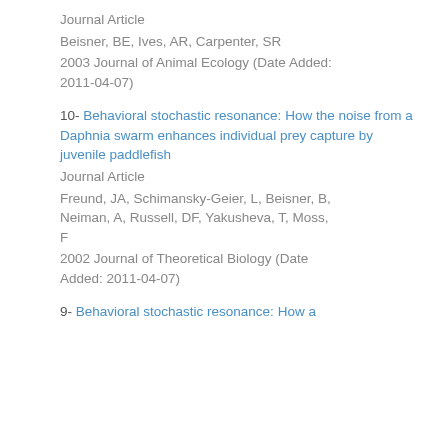Journal Article
Beisner, BE, Ives, AR, Carpenter, SR
2003 Journal of Animal Ecology (Date Added: 2011-04-07)
10- Behavioral stochastic resonance: How the noise from a Daphnia swarm enhances individual prey capture by juvenile paddlefish
Journal Article
Freund, JA, Schimansky-Geier, L, Beisner, B, Neiman, A, Russell, DF, Yakusheva, T, Moss, F
2002 Journal of Theoretical Biology (Date Added: 2011-04-07)
9- Behavioral stochastic resonance: How a